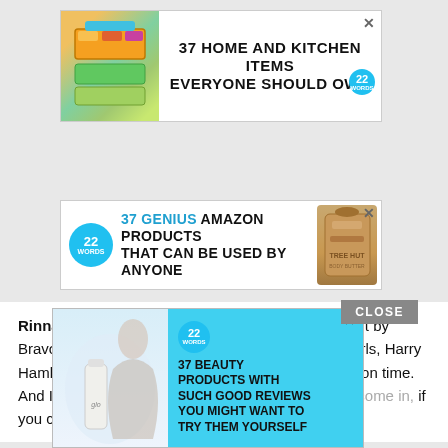[Figure (infographic): Advertisement banner: 37 HOME AND KITCHEN ITEMS EVERYONE SHOULD OWN, with colorful storage bags image and 22 Words logo]
[Figure (infographic): Advertisement banner: 37 GENIUS AMAZON PRODUCTS THAT CAN BE USED BY ANYONE, with 22 Words logo and product image]
Rinna also pointed out the obvious special treatment by Bravo. Lisa Rinna said, " I'm raising two teenage girls, Harry Hamlin and I raised them to be professional. You're on time. And I don't care what you're doing the day of—you come in, if you can't, y... s what I'... really bad ex...
[Figure (infographic): Close button overlay and popup advertisement: 37 BEAUTY PRODUCTS WITH SUCH GOOD REVIEWS YOU MIGHT WANT TO TRY THEM YOURSELF, with beauty product image and 22 Words logo]